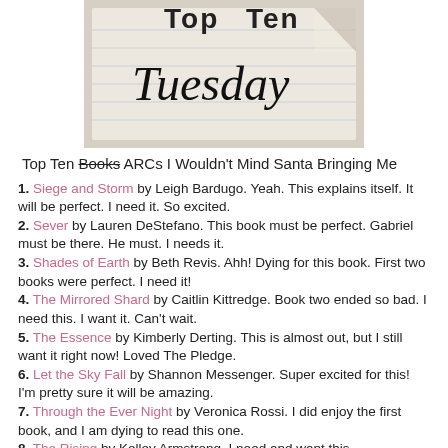[Figure (photo): Top Ten Tuesday banner image with handwritten-style text on lined notebook paper]
Top Ten Books ARCs I Wouldn't Mind Santa Bringing Me
1. Siege and Storm by Leigh Bardugo. Yeah. This explains itself. It will be perfect. I need it. So excited.
2. Sever by Lauren DeStefano. This book must be perfect. Gabriel must be there. He must. I needs it.
3. Shades of Earth by Beth Revis. Ahh! Dying for this book. First two books were perfect. I need it!
4. The Mirrored Shard by Caitlin Kittredge. Book two ended so bad. I need this. I want it. Can't wait.
5. The Essence by Kimberly Derting. This is almost out, but I still want it right now! Loved The Pledge.
6. Let the Sky Fall by Shannon Messenger. Super excited for this! I'm pretty sure it will be amazing.
7. Through the Ever Night by Veronica Rossi. I did enjoy the first book, and I am dying to read this one.
8. The Rising by Kelley Armstrong. I need and want this